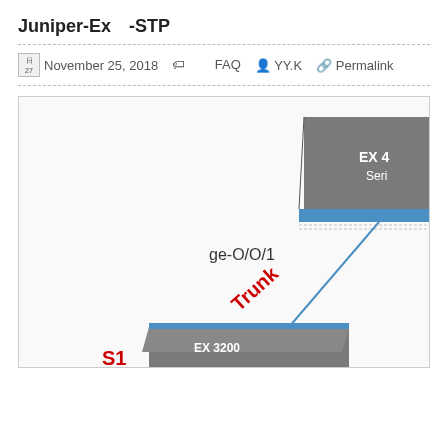Juniper-Ex　-STP
November 25, 2018   　　FAQ   YY.K   Permalink
[Figure (network-graph): Network diagram showing Juniper EX series switches connected via trunk links. Top switch (EX 4x Series) labeled S, connected via ge-0/0/1 trunk link to bottom switch (EX 3200) labeled S1. Link labeled 'Trunk' in red diagonally. Port labels ge-0/0/1 shown at both ends.]